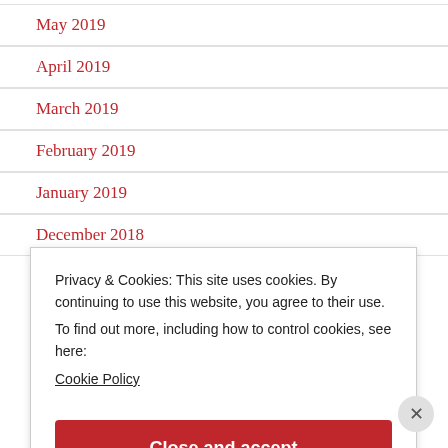May 2019
April 2019
March 2019
February 2019
January 2019
December 2018
November 2018
Privacy & Cookies: This site uses cookies. By continuing to use this website, you agree to their use.
To find out more, including how to control cookies, see here:
Cookie Policy
Close and accept